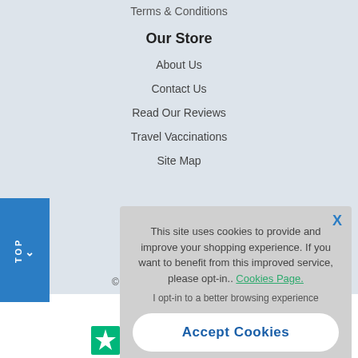Terms & Conditions
Our Store
About Us
Contact Us
Read Our Reviews
Travel Vaccinations
Site Map
This site uses cookies to provide and improve your shopping experience. If you want to benefit from this improved service, please opt-in.. Cookies Page.
I opt-in to a better browsing experience
Accept Cookies
© 20
[Figure (illustration): Trustpilot star rating icons in green and white at the bottom of the page]